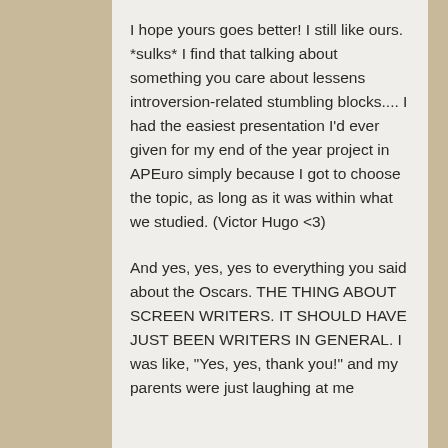I hope yours goes better! I still like ours. *sulks* I find that talking about something you care about lessens introversion-related stumbling blocks.... I had the easiest presentation I'd ever given for my end of the year project in APEuro simply because I got to choose the topic, as long as it was within what we studied. (Victor Hugo <3)
And yes, yes, yes to everything you said about the Oscars. THE THING ABOUT SCREEN WRITERS. IT SHOULD HAVE JUST BEEN WRITERS IN GENERAL. I was like, "Yes, yes, thank you!" and my parents were just laughing at me